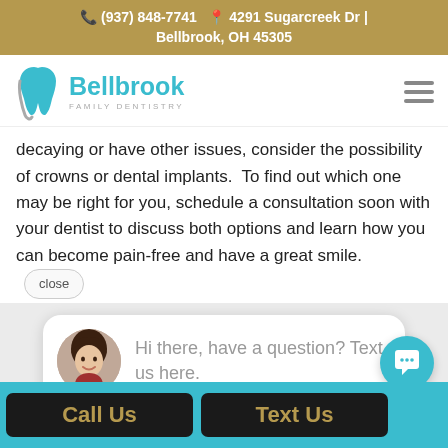📞 (937) 848-7741  📍 4291 Sugarcreek Dr | Bellbrook, OH 45305
[Figure (logo): Bellbrook Family Dentistry logo with teal tooth icon and brand name]
decaying or have other issues, consider the possibility of crowns or dental implants.  To find out which one may be right for you, schedule a consultation soon with your dentist to discuss both options and learn how you can become pain-free and have a great smile.
[Figure (screenshot): Chat popup bubble with avatar photo of a woman and text: Hi there, have a question? Text us here.]
[Figure (other): Circular teal chat icon button in bottom right corner]
Call Us
Text Us